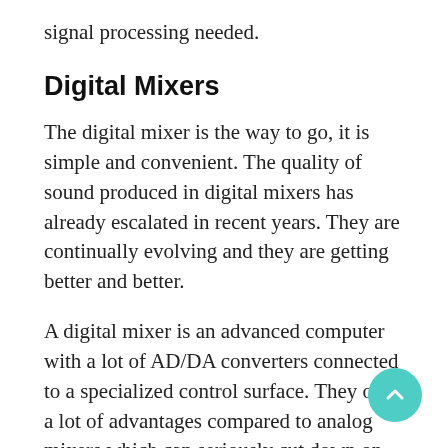signal processing needed.
Digital Mixers
The digital mixer is the way to go, it is simple and convenient. The quality of sound produced in digital mixers has already escalated in recent years. They are continually evolving and they are getting better and better.
A digital mixer is an advanced computer with a lot of AD/DA converters connected to a specialized control surface. They offer a lot of advantages compared to analog mixers which can seriously cut down on outboard gear. For instance, digital mixers have a large channel